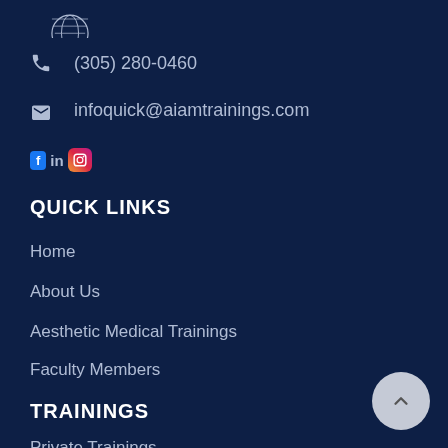[Figure (logo): Globe/world logo icon at top, partially cropped]
(305) 280-0460
infoquick@aiamtrainings.com
[Figure (logo): Social media icons: Facebook, LinkedIn/in, Instagram]
QUICK LINKS
Home
About Us
Aesthetic Medical Trainings
Faculty Members
TRAININGS
Private Trainings